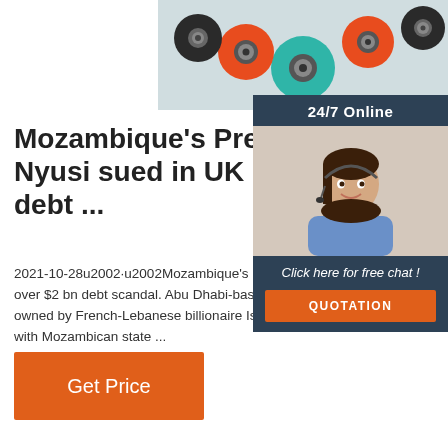[Figure (photo): Photo of colorful roller bearing wheels (black, red/orange, teal/green) on a light surface]
[Figure (photo): Customer service sidebar with 24/7 Online header, photo of smiling woman with headset, Click here for free chat text, and QUOTATION button]
Mozambique's President Nyusi sued in UK over $2 bn debt ...
2021-10-28u2002·u2002Mozambique's President Nyusi sued in UK over $2 bn debt scandal. Abu Dhabi-based shipbuilder Privinvest, owned by French-Lebanese billionaire Iskandar Safa, signed contracts with Mozambican state ...
Get Price